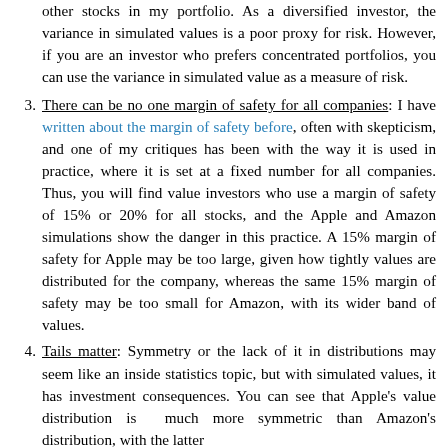other stocks in my portfolio. As a diversified investor, the variance in simulated values is a poor proxy for risk. However, if you are an investor who prefers concentrated portfolios, you can use the variance in simulated value as a measure of risk.
There can be no one margin of safety for all companies: I have written about the margin of safety before, often with skepticism, and one of my critiques has been with the way it is used in practice, where it is set at a fixed number for all companies. Thus, you will find value investors who use a margin of safety of 15% or 20% for all stocks, and the Apple and Amazon simulations show the danger in this practice. A 15% margin of safety for Apple may be too large, given how tightly values are distributed for the company, whereas the same 15% margin of safety may be too small for Amazon, with its wider band of values.
Tails matter: Symmetry or the lack of it in distributions may seem like an inside statistics topic, but with simulated values, it has investment consequences. You can see that Apple's value distribution is much more symmetric than Amazon's distribution, with the latter